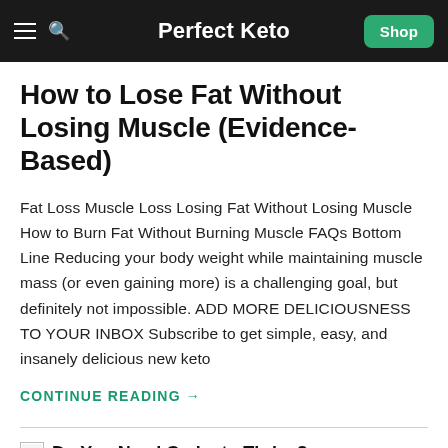Perfect Keto
How to Lose Fat Without Losing Muscle (Evidence-Based)
Fat Loss Muscle Loss Losing Fat Without Losing Muscle How to Burn Fat Without Burning Muscle FAQs Bottom Line Reducing your body weight while maintaining muscle mass (or even gaining more) is a challenging goal, but definitely not impossible. ADD MORE DELICIOUSNESS TO YOUR INBOX Subscribe to get simple, easy, and insanely delicious new keto
CONTINUE READING →
Do You Need Carbs to Thrive?